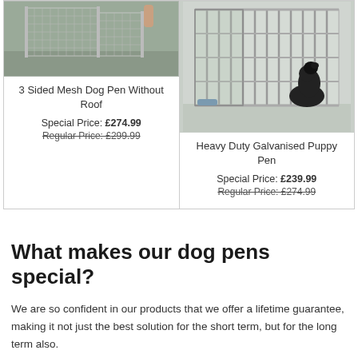[Figure (photo): 3 Sided Mesh Dog Pen Without Roof - metal mesh enclosure pen photo]
3 Sided Mesh Dog Pen Without Roof
Special Price: £274.99
Regular Price: £299.99
[Figure (photo): Heavy Duty Galvanised Puppy Pen with black dog inside - metal bar pen photo]
Heavy Duty Galvanised Puppy Pen
Special Price: £239.99
Regular Price: £274.99
What makes our dog pens special?
We are so confident in our products that we offer a lifetime guarantee, making it not just the best solution for the short term, but for the long term also.